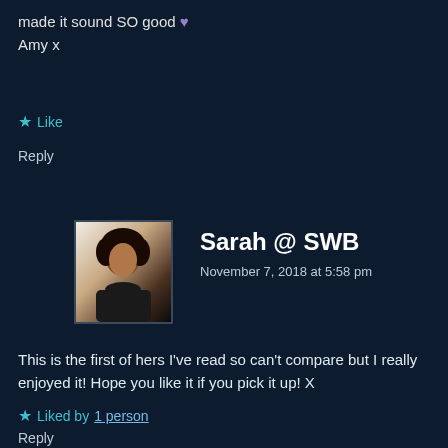made it sound SO good 💜
Amy x
★ Like
Reply
[Figure (photo): Avatar photo of commenter Sarah @ SWB — a woman with curly dark hair against a light background]
Sarah @ SWB
November 7, 2018 at 5:58 pm
This is the first of hers I've read so can't compare but I really enjoyed it! Hope you like it if you pick it up! X
★ Liked by 1 person
Reply